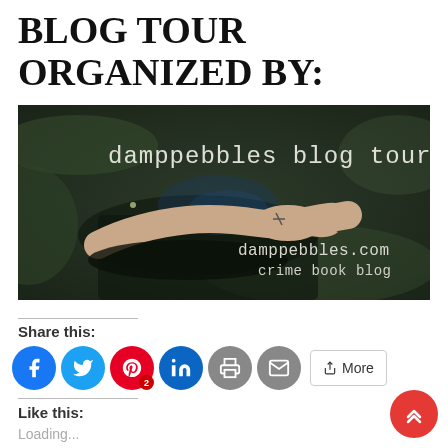BLOG TOUR ORGANIZED BY:
[Figure (illustration): Banner image for 'damppebbles blog tours' showing a dark atmospheric background with a hand pointing, text overlay reads 'damppebbles blog tours' and 'damppebbles.com crime book blog']
Share this:
Facebook, Twitter, Pinterest (2), LinkedIn, Print, Email, More
Like this:
Loading...